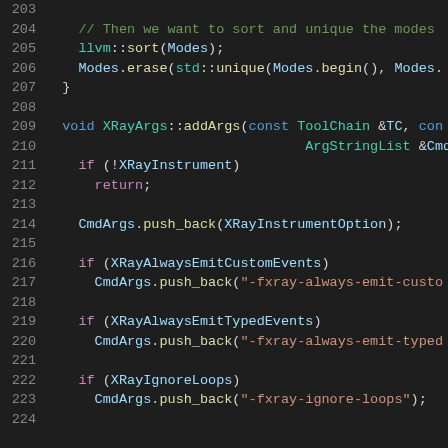[Figure (screenshot): Source code snippet in a dark-themed code editor showing C++ code lines 203-224. The code includes a function XRayArgs::addArgs with conditional checks for XRay instrumentation options.]